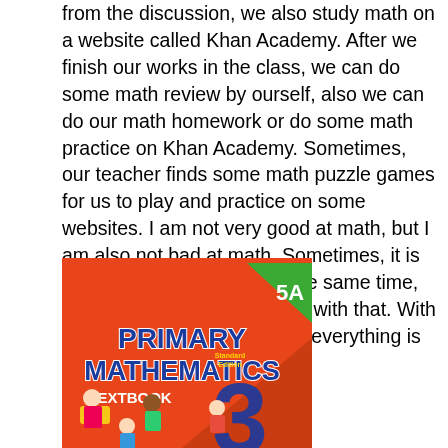from the discussion, we also study math on a website called Khan Academy. After we finish our works in the class, we can do some math review by ourself, also we can do our math homework or do some math practice on Khan Academy. Sometimes, our teacher finds some math puzzle games for us to play and practice on some websites. I am not very good at math, but I am also not bad at math. Sometimes, it is fun and difficult to learn at the same time, but we always try to keep up with that. With determination, I think almost everything is possible.
[Figure (illustration): Cover of 'Primary Mathematics 5A Standard Edition Textbook' on an orange/red background with cartoon children and a large number 3.]